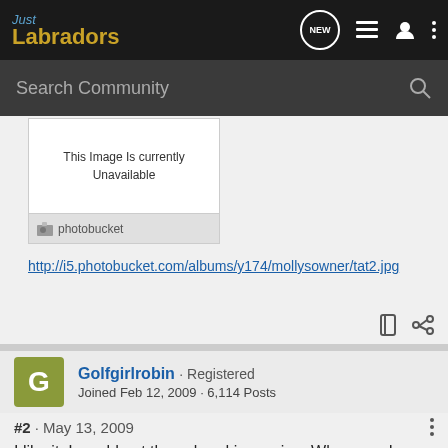Just Labradors
Search Community
[Figure (screenshot): Photobucket broken image placeholder with text 'This Image Is currently Unavailable' and photobucket logo bar]
http://i5.photobucket.com/albums/y174/mollysowner/tat2.jpg
Golfgirlrobin · Registered
Joined Feb 12, 2009 · 6,114 Posts
#2 · May 13, 2009
I like it. I would get the colored in version. Whenever I see a tatoo that is interesting it looks better like they did it